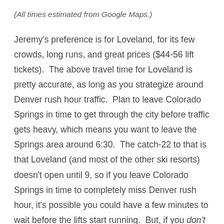(All times estimated from Google Maps.)
Jeremy's preference is for Loveland, for its few crowds, long runs, and great prices ($44-56 lift tickets).  The above travel time for Loveland is pretty accurate, as long as you strategize around Denver rush hour traffic.  Plan to leave Colorado Springs in time to get through the city before traffic gets heavy, which means you want to leave the Springs area around 6:30.  The catch-22 to that is that Loveland (and most of the other ski resorts) doesn't open until 9, so if you leave Colorado Springs in time to completely miss Denver rush hour, it's possible you could have a few minutes to wait before the lifts start running.  But, if you don't get through Denver in time, you could be sitting in traffic, think is about the